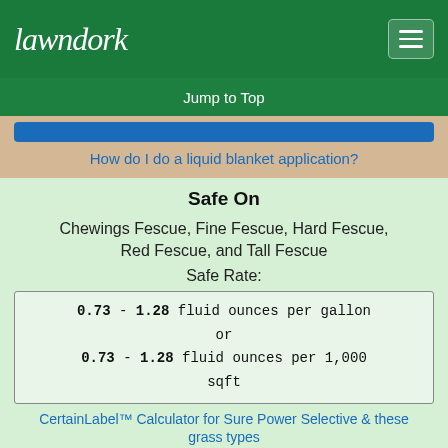lawndork
Jump to Top
How do I do a liquid blanket application?
Safe On
Chewings Fescue, Fine Fescue, Hard Fescue, Red Fescue, and Tall Fescue
Safe Rate:
0.73 - 1.28 fluid ounces per gallon or 0.73 - 1.28 fluid ounces per 1,000 sqft
CertainLabel™ Calculator for Sure Power Selective & these grass types
Kentucky Bluegrass and Perennial Ryegrass
Safe Rate:
0.73 - 1.28 fluid ounces per gallon